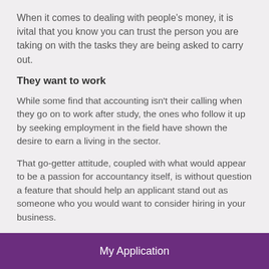When it comes to dealing with people's money, it is ivital that you know you can trust the person you are taking on with the tasks they are being asked to carry out.
They want to work
While some find that accounting isn't their calling when they go on to work after study, the ones who follow it up by seeking employment in the field have shown the desire to earn a living in the sector.
That go-getter attitude, coupled with what would appear to be a passion for accountancy itself, is without question a feature that should help an applicant stand out as someone who you would want to consider hiring in your business.
My Application